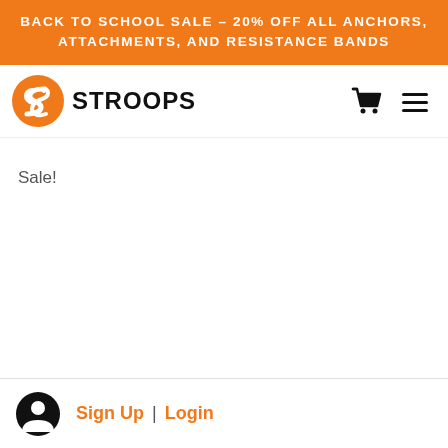BACK TO SCHOOL SALE – 20% OFF ALL ANCHORS, ATTACHMENTS, AND RESISTANCE BANDS
[Figure (logo): Stroops logo: orange circle with stylized S swoosh and STROOPS wordmark in black]
Sale!
Sign Up  |  Login